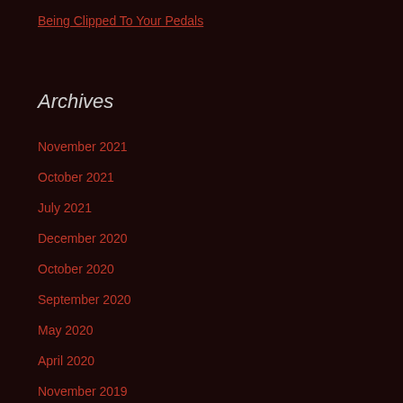Being Clipped To Your Pedals
Archives
November 2021
October 2021
July 2021
December 2020
October 2020
September 2020
May 2020
April 2020
November 2019
October 2019